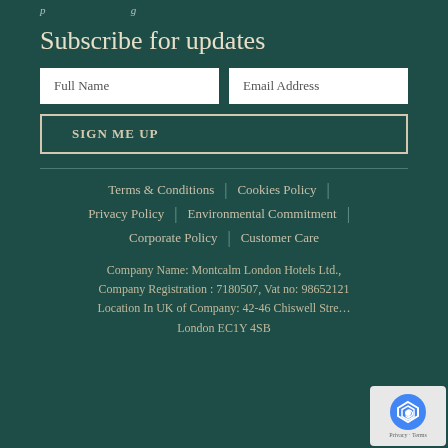Subscribe for updates
[Figure (other): Newsletter subscription form with Full Name and Email Address input fields and a SIGN ME UP button]
Terms & Conditions | Cookies Policy | Privacy Policy | Environmental Commitment | Corporate Policy | Customer Care
Company Name: Montcalm London Hotels Ltd., Company Registration : 7180507, Vat no: 98652121, Location In UK of Company: 42-46 Chiswell Street, London EC1Y 4SB